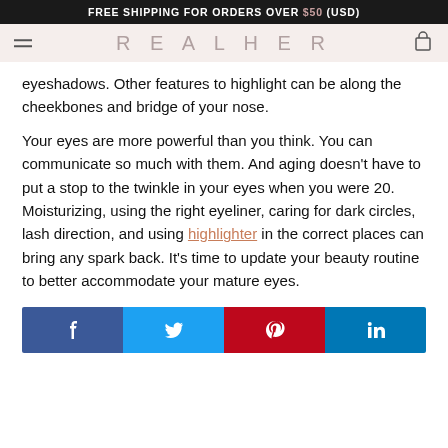FREE SHIPPING FOR ORDERS OVER $50 (USD)
REALHER
eyeshadows. Other features to highlight can be along the cheekbones and bridge of your nose.
Your eyes are more powerful than you think. You can communicate so much with them. And aging doesn't have to put a stop to the twinkle in your eyes when you were 20. Moisturizing, using the right eyeliner, caring for dark circles, lash direction, and using highlighter in the correct places can bring any spark back. It's time to update your beauty routine to better accommodate your mature eyes.
[Figure (infographic): Social share buttons: Facebook (blue), Twitter (light blue), Pinterest (red), LinkedIn (blue)]